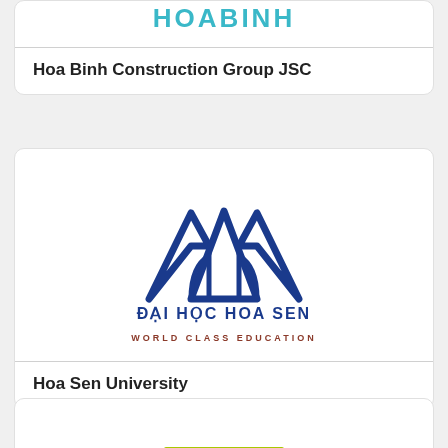[Figure (logo): Hoa Binh Construction Group JSC logo — teal/cyan stylized text 'HOABINH']
Hoa Binh Construction Group JSC
[Figure (logo): Hoa Sen University logo — dark blue mountain/lotus symbol above text 'ĐẠI HỌC HOA SEN' and tagline 'WORLD CLASS EDUCATION']
Hoa Sen University
[Figure (logo): Partial third card visible at bottom with yellow-green bar element]